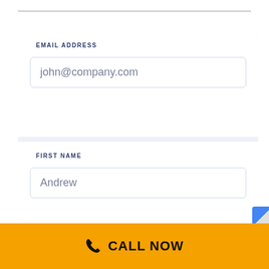EMAIL ADDRESS
john@company.com
FIRST NAME
Andrew
LAST NAME
CALL NOW